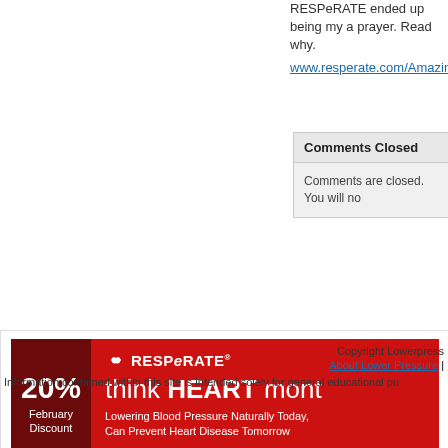RESPeRATE ended up being my a prayer. Read why. www.resperate.com/Amazing
Comments Closed
Comments are closed. You will no
[Figure (infographic): RESPeRATE advertisement banner: 20% February Discount on red background with dark maroon left panel. Text reads 'think HEART mont...' and 'Lowering Blood Pressure Naturally Today, Can Prevent Heart Disease Tomorrow']
Copyright Lowerpress... About Lower Pressure | ... Information contained within this site is intended solely for general educational pu...